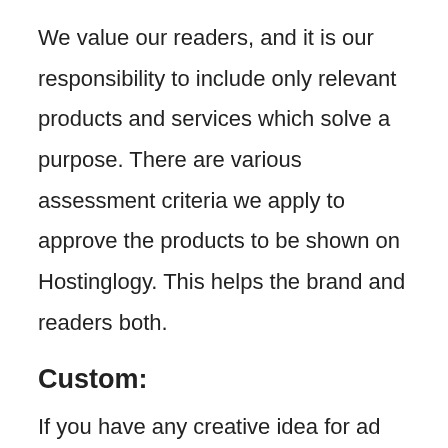We value our readers, and it is our responsibility to include only relevant products and services which solve a purpose. There are various assessment criteria we apply to approve the products to be shown on Hostinglogy. This helps the brand and readers both.
Custom:
If you have any creative idea for ad placement or if you want to place ads on page specific, feel free to contact us.